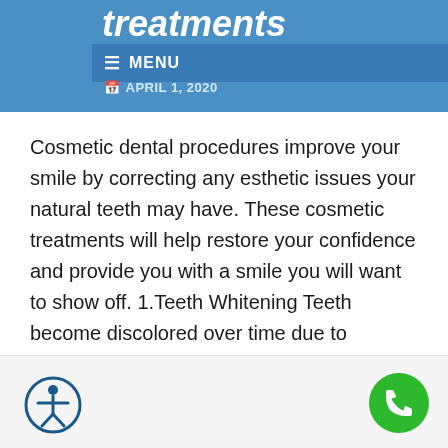treatments
≡ MENU
APRIL 1, 2020
Cosmetic dental procedures improve your smile by correcting any esthetic issues your natural teeth may have. These cosmetic treatments will help restore your confidence and provide you with a smile you will want to show off. 1.Teeth Whitening Teeth become discolored over time due to smoking, highly pigmented foods, beverages like red wine, and as a side-effect of some medications. …
Read More